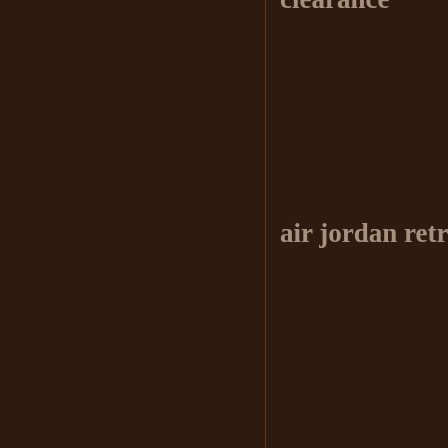clearance
air jordan retro
air max
pandora charms
hermes belt